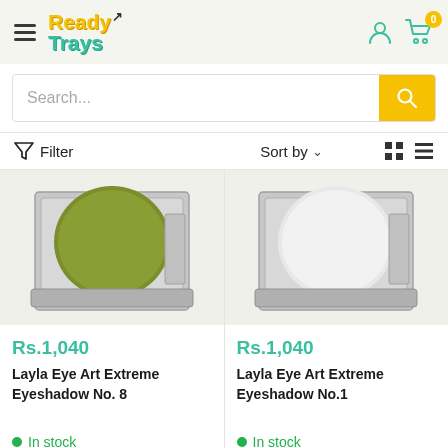[Figure (screenshot): ReadyTrays e-commerce website header with hamburger menu, logo, user icon, and cart icon with badge showing 0]
Search...
Filter   Sort by   v
[Figure (photo): Layla Eye Art Extreme Eyeshadow No. 8 - green eyeshadow in silver compact]
[Figure (photo): Layla Eye Art Extreme Eyeshadow No.1 - white eyeshadow in silver compact]
Rs.1,040
Layla Eye Art Extreme Eyeshadow No. 8
In stock
Rs.1,040
Layla Eye Art Extreme Eyeshadow No.1
In stock